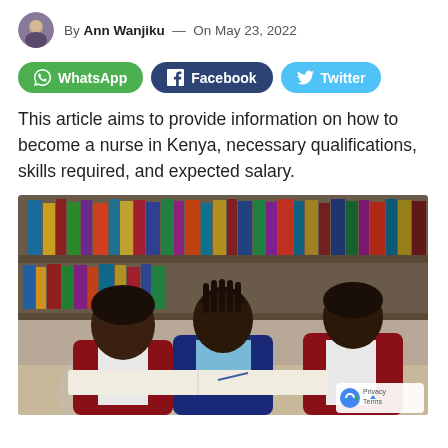By Ann Wanjiku — On May 23, 2022
[Figure (other): Social share buttons: WhatsApp (green), Facebook (dark blue), Twitter (light blue)]
This article aims to provide information on how to become a nurse in Kenya, necessary qualifications, skills required, and expected salary.
[Figure (photo): Three students in school uniforms (maroon vests) studying together over a book in a library with bookshelves in the background.]